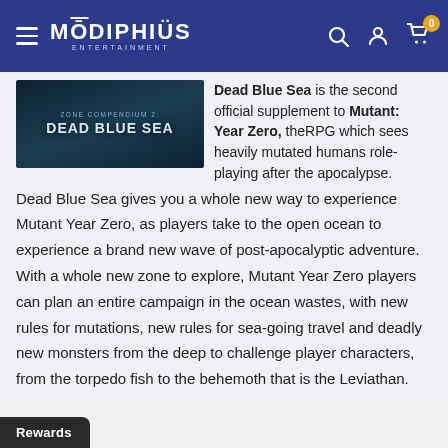Modiphius Entertainment — navigation header with logo, search, account, and cart icons
[Figure (illustration): Book cover image: ZONE COMPENDIUM 2: DEAD BLUE SEA on dark teal oceanic background]
Dead Blue Sea is the second official supplement to Mutant: Year Zero, theRPG which sees heavily mutated humans role-playing after the apocalypse. Dead Blue Sea gives you a whole new way to experience Mutant Year Zero, as players take to the open ocean to experience a brand new wave of post-apocalyptic adventure. With a whole new zone to explore, Mutant Year Zero players can plan an entire campaign in the ocean wastes, with new rules for mutations, new rules for sea-going travel and deadly new monsters from the deep to challenge player characters, from the torpedo fish to the behemoth that is the Leviathan.